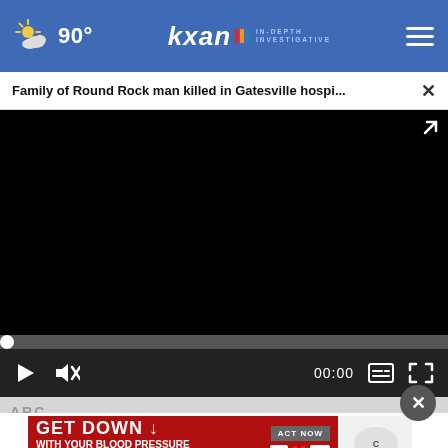90° kxan IN-DEPTH INVESTIGATIVE
Family of Round Rock man killed in Gatesville hospi... ×
[Figure (screenshot): Black video player area with progress bar at bottom (dot at left), playback controls: play button, mute button, timecode 00:00, captions button, fullscreen button]
ARC...
[Figure (infographic): Advertisement banner: GET DOWN WITH YOUR BLOOD PRESSURE, ACT NOW button, ad council logo, American Heart Association logo, AMA logo, Correct Health logo]